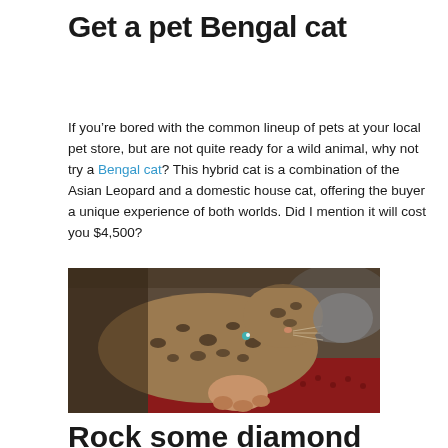Get a pet Bengal cat
If you’re bored with the common lineup of pets at your local pet store, but are not quite ready for a wild animal, why not try a Bengal cat? This hybrid cat is a combination of the Asian Leopard and a domestic house cat, offering the buyer a unique experience of both worlds. Did I mention it will cost you $4,500?
[Figure (photo): Two Bengal cats lying together on a red surface, one appearing to groom or nuzzle the other. Their spotted/rosette tabby markings are clearly visible.]
Rock some diamond